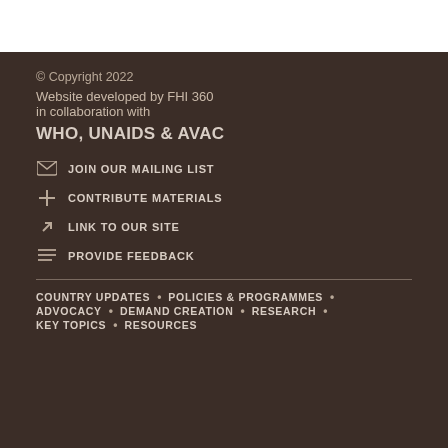© Copyright 2022
Website developed by FHI 360
in collaboration with
WHO, UNAIDS & AVAC
JOIN OUR MAILING LIST
CONTRIBUTE MATERIALS
LINK TO OUR SITE
PROVIDE FEEDBACK
COUNTRY UPDATES • POLICIES & PROGRAMMES • ADVOCACY • DEMAND CREATION • RESEARCH • KEY TOPICS • RESOURCES